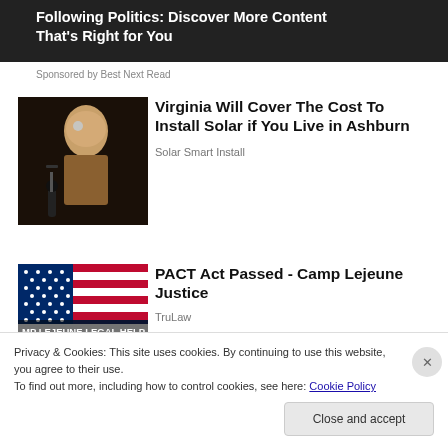[Figure (screenshot): Dark banner with white bold text: 'Following Politics: Discover More Content That's Right for You']
Sponsored by Best Next Read
[Figure (photo): Photo of a woman with glasses speaking at a microphone at a podium]
Virginia Will Cover The Cost To Install Solar if You Live in Ashburn
Solar Smart Install
[Figure (photo): Photo showing an American flag with text overlay 'MP LEJEUNE LEGAL HELP']
PACT Act Passed - Camp Lejeune Justice
TruLaw
Privacy & Cookies: This site uses cookies. By continuing to use this website, you agree to their use.
To find out more, including how to control cookies, see here: Cookie Policy
Close and accept